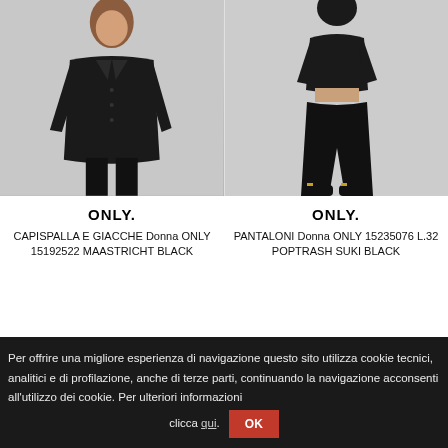[Figure (photo): Woman wearing black puffer coat/jacket (ONLY brand), standing against grey background, left product image]
[Figure (photo): Woman wearing black wide-leg trousers (ONLY brand), standing against grey background, right product image]
ONLY.
CAPISPALLA E GIACCHE Donna ONLY 15192522 MAASTRICHT BLACK
ONLY.
PANTALONI Donna ONLY 15235076 L.32 POPTRASH SUKI BLACK
Per offrire una migliore esperienza di navigazione questo sito utilizza cookie tecnici, analitici e di profilazione, anche di terze parti, continuando la navigazione acconsenti all'utilizzo dei cookie. Per ulteriori informazioni clicca qui. OK